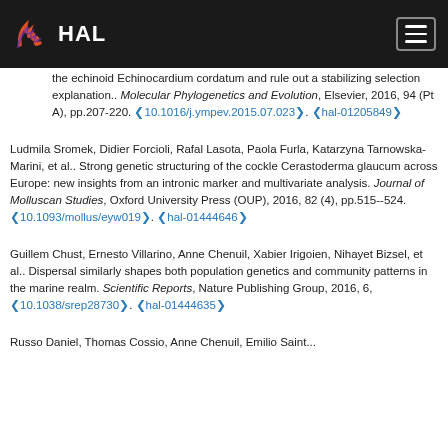HAL
the echinoid Echinocardium cordatum and rule out a stabilizing selection explanation.. Molecular Phylogenetics and Evolution, Elsevier, 2016, 94 (Pt A), pp.207-220. (10.1016/j.ympev.2015.07.023). (hal-01205849)
Ludmila Sromek, Didier Forcioli, Rafal Lasota, Paola Furla, Katarzyna Tarnowska-Marini, et al.. Strong genetic structuring of the cockle Cerastoderma glaucum across Europe: new insights from an intronic marker and multivariate analysis. Journal of Molluscan Studies, Oxford University Press (OUP), 2016, 82 (4), pp.515--524. (10.1093/mollus/eyw019). (hal-01444646)
Guillem Chust, Ernesto Villarino, Anne Chenuil, Xabier Irigoien, Nihayet Bizsel, et al.. Dispersal similarly shapes both population genetics and community patterns in the marine realm. Scientific Reports, Nature Publishing Group, 2016, 6, (10.1038/srep28730). (hal-01444635)
Russo Daniel, Thomas Cossio, Anne Chenuil, Emilio Saint...